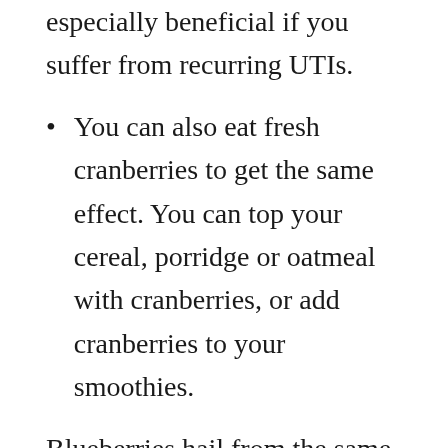especially beneficial if you suffer from recurring UTIs.
You can also eat fresh cranberries to get the same effect. You can top your cereal, porridge or oatmeal with cranberries, or add cranberries to your smoothies.
Blueberries hail from the same family as cranberries and thus can help you fight UTIs too. You can consume blueberries in the